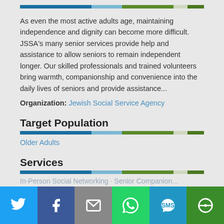[Figure (infographic): Horizontal multi-color divider bar (dark blue, light blue, dark green, light/white, medium green segments)]
As even the most active adults age, maintaining independence and dignity can become more difficult. JSSA's many senior services provide help and assistance to allow seniors to remain independent longer. Our skilled professionals and trained volunteers bring warmth, companionship and convenience into the daily lives of seniors and provide assistance...
Organization: Jewish Social Service Agency
Target Population
[Figure (infographic): Horizontal multi-color divider bar]
Older Adults
Services
[Figure (infographic): Horizontal multi-color divider bar]
[Figure (infographic): Social share footer bar with Twitter, Facebook, Email, WhatsApp, SMS, More buttons]